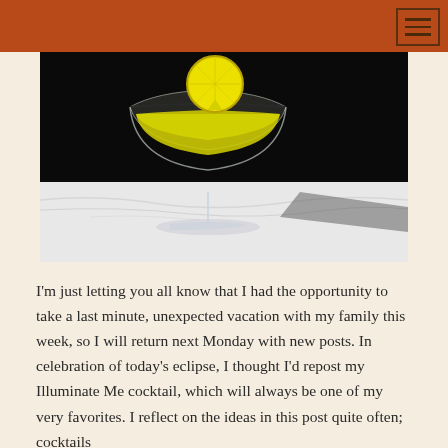[Figure (photo): A yellow cocktail in a coupe glass with a lemon slice garnish on the rim, sitting on a white marble surface against a dark background.]
I'm just letting you all know that I had the opportunity to take a last minute, unexpected vacation with my family this week, so I will return next Monday with new posts. In celebration of today's eclipse, I thought I'd repost my Illuminate Me cocktail, which will always be one of my very favorites. I reflect on the ideas in this post quite often; cocktails